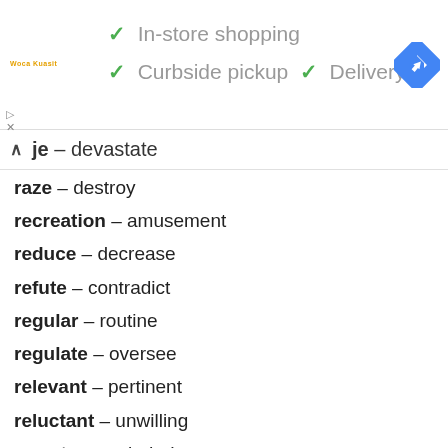[Figure (screenshot): Google Maps advertisement banner showing store services: In-store shopping, Curbside pickup, Delivery with checkmarks, Walmart logo, and Google Maps navigation icon]
raze – destroy
recreation – amusement
reduce – decrease
refute – contradict
regular – routine
regulate – oversee
relevant – pertinent
reluctant – unwilling
remote – secluded
repulsive – hideous
resist – oppose
retaliate – avenge